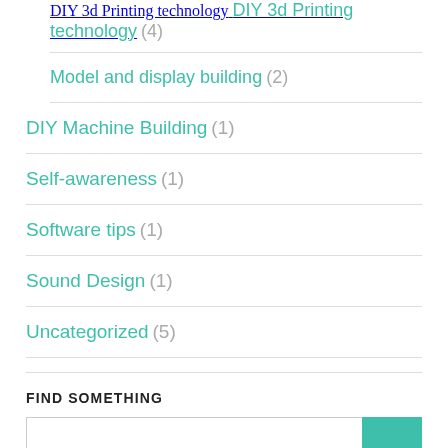DIY 3d Printing technology (4)
Model and display building (2)
DIY Machine Building (1)
Self-awareness (1)
Software tips (1)
Sound Design (1)
Uncategorized (5)
FIND SOMETHING